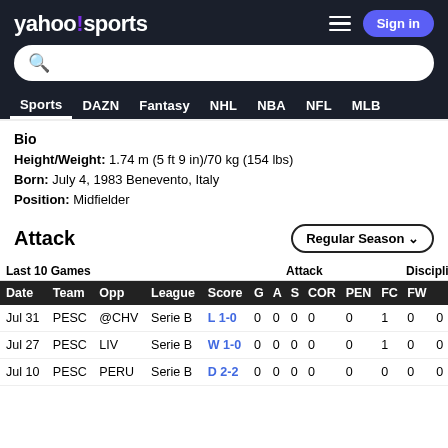yahoo!sports — Sign in
Bio
Height/Weight: 1.74 m (5 ft 9 in)/70 kg (154 lbs)
Born: July 4, 1983 Benevento, Italy
Position: Midfielder
Attack
| Date | Team | Opp | League | Score | G | A | S | COR | PEN | FC | FW |  |
| --- | --- | --- | --- | --- | --- | --- | --- | --- | --- | --- | --- | --- |
| Jul 31 | PESC | @CHV | Serie B | L 1-0 | 0 | 0 | 0 | 0 | 0 | 1 | 0 | 0 |
| Jul 27 | PESC | LIV | Serie B | W 1-0 | 0 | 0 | 0 | 0 | 0 | 1 | 0 | 0 |
| Jul 10 | PESC | PERU | Serie B | D 2-2 | 0 | 0 | 0 | 0 | 0 | 0 | 0 | 0 |